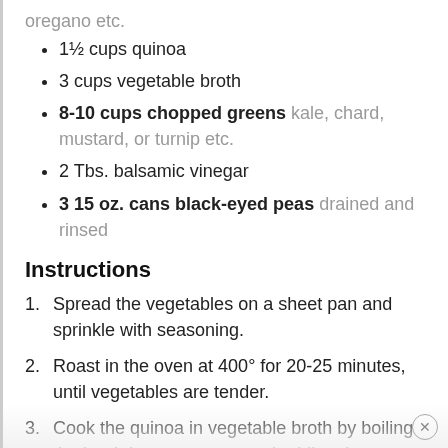oregano etc.
1½ cups quinoa
3 cups vegetable broth
8-10 cups chopped greens kale, chard, mustard, or turnip etc.
2 Tbs. balsamic vinegar
3 15 oz. cans black-eyed peas drained and rinsed
Instructions
Spread the vegetables on a sheet pan and sprinkle with seasoning.
Roast in the oven at 400° for 20-25 minutes, until vegetables are tender.
Cook the quinoa in vegetable broth by boiling the broth in a saucepan and adding the quinoa.
Reduce the heat to simmer and cover loosely for 15 minutes, until the broth has been absorbed.